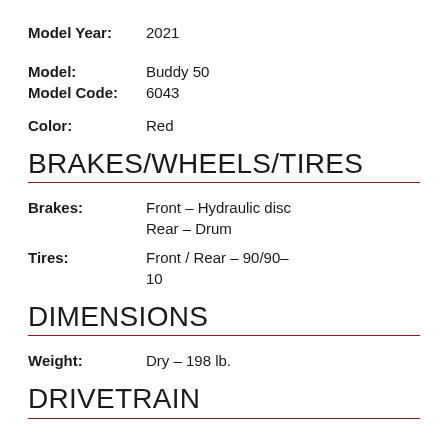Model Year: 2021
Model: Buddy 50
Model Code: 6043
Color: Red
BRAKES/WHEELS/TIRES
Brakes: Front – Hydraulic disc Rear – Drum
Tires: Front / Rear – 90/90-10
DIMENSIONS
Weight: Dry – 198 lb.
DRIVETRAIN